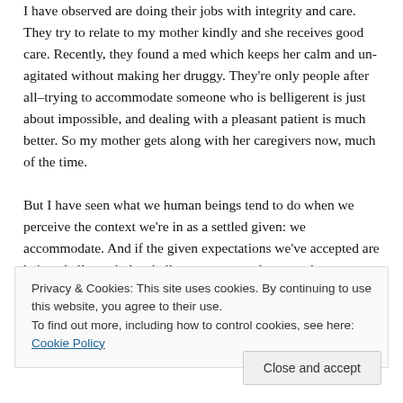I have observed are doing their jobs with integrity and care. They try to relate to my mother kindly and she receives good care. Recently, they found a med which keeps her calm and un-agitated without making her druggy. They're only people after all–trying to accommodate someone who is belligerent is just about impossible, and dealing with a pleasant patient is much better. So my mother gets along with her caregivers now, much of the time.

But I have seen what we human beings tend to do when we perceive the context we're in as a settled given: we accommodate. And if the given expectations we've accepted are being challenged, the challenger too must be caused to
Privacy & Cookies: This site uses cookies. By continuing to use this website, you agree to their use.
To find out more, including how to control cookies, see here: Cookie Policy